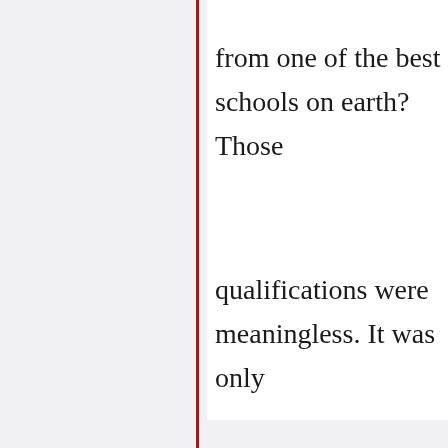from one of the best schools on earth? Those qualifications were meaningless. It was only color of my skin that was considered by my manager. Or later, in my second job, my customer blatantly told my supervisor that the board didn't want a 'young, black kid' covering their account. So if my reactions are based on racial memories, then what does that say about those who perpetrated the actions? What was driving th…
Reply